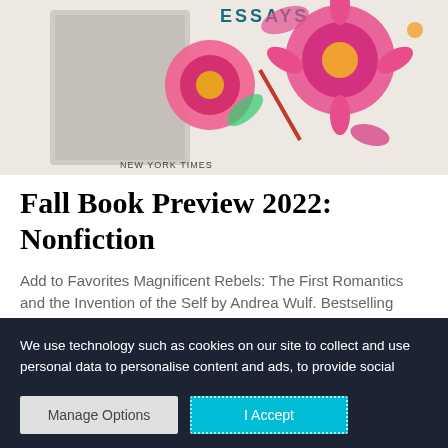[Figure (illustration): Book cover illustration showing colorful floral design with pink, red, and yellow flowers on a light background. Text 'ESSAYS' and 'NEW YORK TIMES' partially visible.]
Fall Book Preview 2022: Nonfiction
Add to Favorites Magnificent Rebels: The First Romantics and the Invention of the Self by Andrea Wulf. Bestselling author
We use technology such as cookies on our site to collect and use personal data to personalise content and ads, to provide social media features and to analyse our traffic. We also share information about your use of our site and interests with our partners who also use technologies such as cookies to collect and use personal data to personalise content and ads, to provide social media features and to analyse our traffic on our site and across the internet. You can always change your mind and revisit your choices.
Manage Options
I Accept